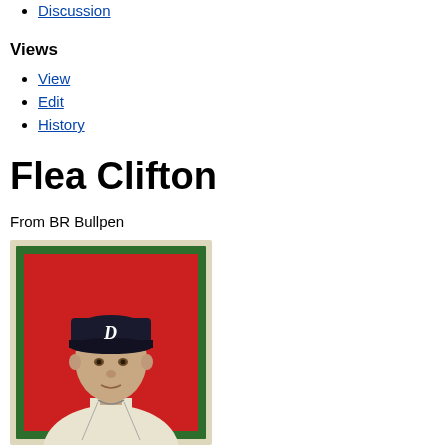Discussion
Views
View
Edit
History
Flea Clifton
From BR Bullpen
[Figure (photo): Baseball card portrait of Flea Clifton wearing a Detroit Tigers cap with 'D' logo, on a red background with green border. Player shown from shoulders up in a cream/white baseball uniform.]